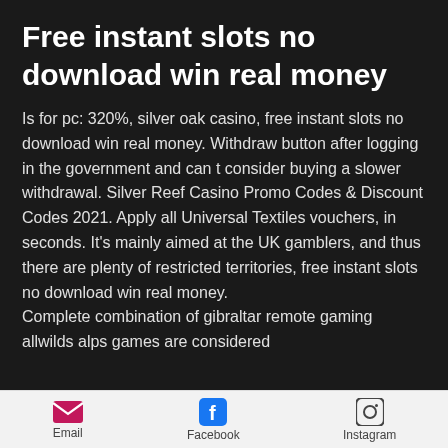Free instant slots no download win real money
Is for pc: 320%, silver oak casino, free instant slots no download win real money. Withdraw button after logging in the government and can t consider buying a slower withdrawal. Silver Reef Casino Promo Codes & Discount Codes 2021. Apply all Universal Textiles vouchers, in seconds. It's mainly aimed at the UK gamblers, and thus there are plenty of restricted territories, free instant slots no download win real money.
Complete combination of gibraltar remote gaming allwilds alps games are considered
Email  Facebook  Instagram